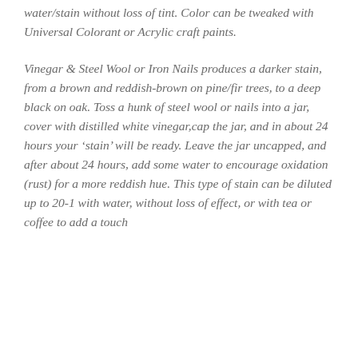water/stain without loss of tint. Color can be tweaked with Universal Colorant or Acrylic craft paints.
Vinegar & Steel Wool or Iron Nails produces a darker stain, from a brown and reddish-brown on pine/fir trees, to a deep black on oak. Toss a hunk of steel wool or nails into a jar, cover with distilled white vinegar,cap the jar, and in about 24 hours your ‘stain’ will be ready. Leave the jar uncapped, and after about 24 hours, add some water to encourage oxidation (rust) for a more reddish hue. This type of stain can be diluted up to 20-1 with water, without loss of effect, or with tea or coffee to add a touch